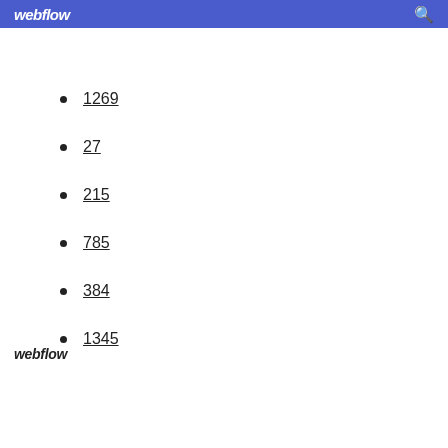webflow
1269
27
215
785
384
1345
webflow